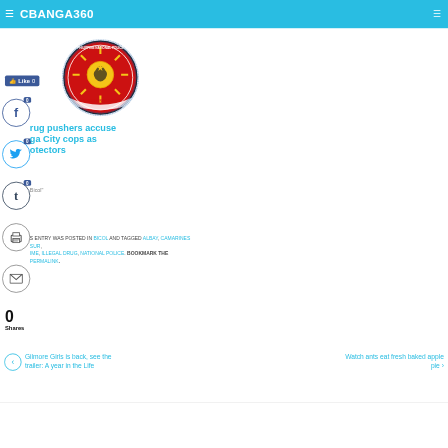CBANGA360
[Figure (logo): Philippine National Police logo/seal - circular emblem with red, yellow and blue colors, sun with rays, and text 'Service Honor Justice']
Drug pushers accuse Naga City cops as protectors
"Bicol"
THIS ENTRY WAS POSTED IN BICOL AND TAGGED ALBAY, CAMARINES SUR, CRIME, ILLEGAL DRUG, NATIONAL POLICE. BOOKMARK THE PERMALINK.
0 Shares
← Gilmore Girls is back, see the trailer: A year in the Life
Watch ants eat fresh baked apple pie →